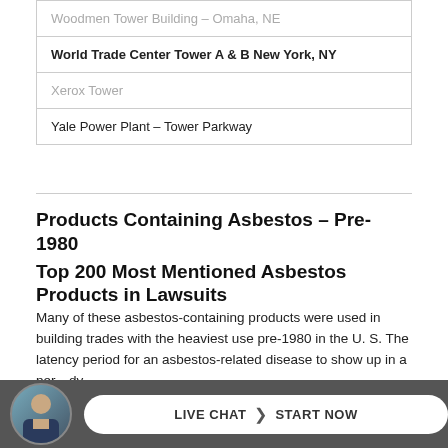| Woodmen Tower Building – Omaha, NE |
| World Trade Center Tower A & B New York, NY |
| Xerox Tower |
| Yale Power Plant – Tower Parkway |
Products Containing Asbestos – Pre-1980
Top 200 Most Mentioned Asbestos Products in Lawsuits
Many of these asbestos-containing products were used in building trades with the heaviest use pre-1980 in the U. S. The latency period for an asbestos-related disease to show up in a per…dy…